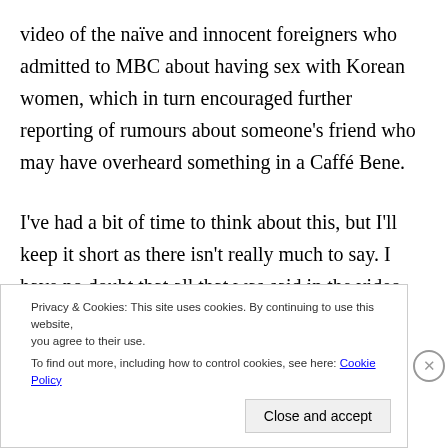video of the naïve and innocent foreigners who admitted to MBC about having sex with Korean women, which in turn encouraged further reporting of rumours about someone's friend who may have overheard something in a Caffé Bene.
I've had a bit of time to think about this, but I'll keep it short as there isn't really much to say. I have no doubt that all that was said in the video was true.
Privacy & Cookies: This site uses cookies. By continuing to use this website, you agree to their use. To find out more, including how to control cookies, see here: Cookie Policy